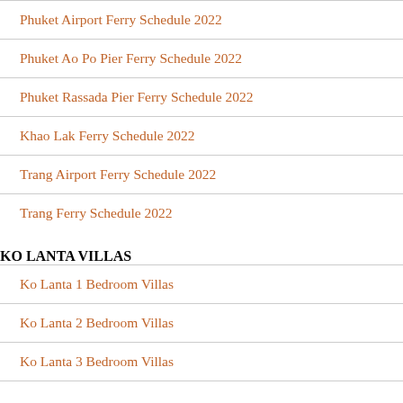Phuket Airport Ferry Schedule 2022
Phuket Ao Po Pier Ferry Schedule 2022
Phuket Rassada Pier Ferry Schedule 2022
Khao Lak Ferry Schedule 2022
Trang Airport Ferry Schedule 2022
Trang Ferry Schedule 2022
KO LANTA VILLAS
Ko Lanta 1 Bedroom Villas
Ko Lanta 2 Bedroom Villas
Ko Lanta 3 Bedroom Villas